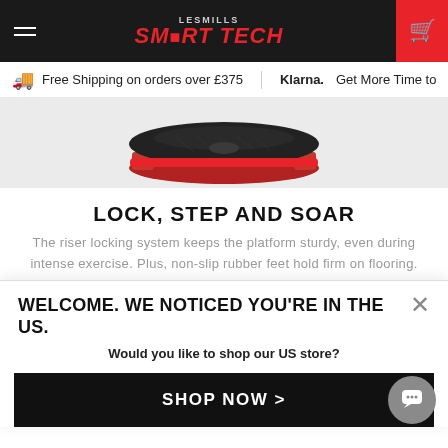LesMills SMARTTECH navigation bar with hamburger menu and shopping cart
Free Shipping on orders over £375   Klarna. Get More Time to
[Figure (photo): Product photo of a Les Mills SMARTTECH step platform with red risers, viewed from above at an angle. The top surface is dark/black with red accents on the risers.]
LOCK, STEP AND SOAR
The riser locking system keeps the platform sturdy, even during intense exercise. Plus, non-slip rubber feet hold firm on flooring. So when you step and
WELCOME. WE NOTICED YOU'RE IN THE US.
Would you like to shop our US store?
SHOP NOW >